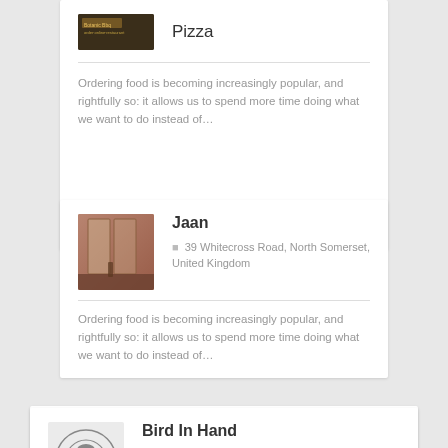[Figure (photo): Partial restaurant card with small dark image and 'Pizza' title]
Pizza
Ordering food is becoming increasingly popular, and rightfully so: it allows us to spend more time doing what we want to do instead of…
[Figure (photo): Restaurant interior photo for Jaan]
Jaan
39 Whitecross Road, North Somerset, United Kingdom
Ordering food is becoming increasingly popular, and rightfully so: it allows us to spend more time doing what we want to do instead of…
[Figure (logo): Bird In Hand restaurant logo — chef hat with crossed cutlery in a circle with stars]
Bird In Hand
17 Weston Road, North Somerset, United Kingdom
steak • Gastro Pub